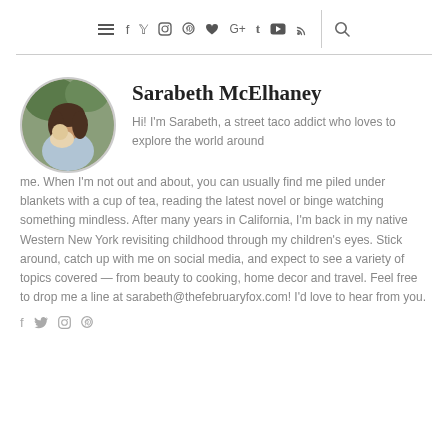≡ f t ♥ G+ t ▶ ))) 🔍
[Figure (photo): Circular profile photo of Sarabeth McElhaney holding a baby, outdoors]
Sarabeth McElhaney
Hi! I'm Sarabeth, a street taco addict who loves to explore the world around me. When I'm not out and about, you can usually find me piled under blankets with a cup of tea, reading the latest novel or binge watching something mindless. After many years in California, I'm back in my native Western New York revisiting childhood through my children's eyes. Stick around, catch up with me on social media, and expect to see a variety of topics covered — from beauty to cooking, home decor and travel. Feel free to drop me a line at sarabeth@thefebruaryfox.com! I'd love to hear from you.
f t ♥